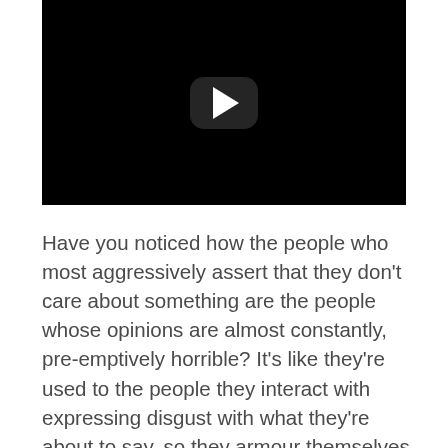[Figure (screenshot): Black video player thumbnail with a rounded-rectangle play button (white triangle) centered on a black background.]
Have you noticed how the people who most aggressively assert that they don't care about something are the people whose opinions are almost constantly, pre-emptively horrible? It's like they're used to the people they interact with expressing disgust with what they're about to say, so they armour themselves about with this air of arrogant assertation that whatever it is you think about what they think, they don't care to hear… while still professing to you what they care about. I remember having an attitude like this; it lasted for a few months (I hope) in my teenage years and